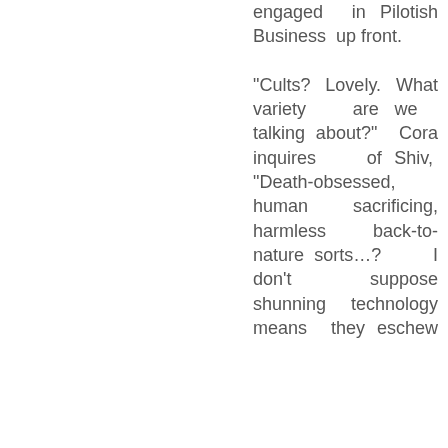engaged in Pilotish Business up front.

"Cults? Lovely. What variety are we talking about?" Cora inquires of Shiv, "Death-obsessed, human sacrificing, harmless back-to-nature sorts…? I don't suppose shunning technology means they eschew guns…does